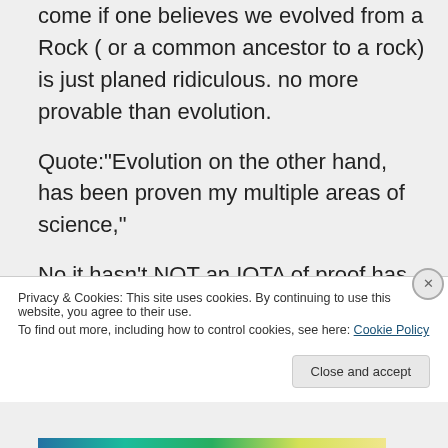come if one believes we evolved from a Rock ( or a common ancestor to a rock) is just planed ridiculous. no more provable than evolution.
Quote:"Evolution on the other hand, has been proven my multiple areas of science,"
No it hasn't NOT an IOTA of proof has EVER been shown for a
Privacy & Cookies: This site uses cookies. By continuing to use this website, you agree to their use.
To find out more, including how to control cookies, see here: Cookie Policy
Close and accept